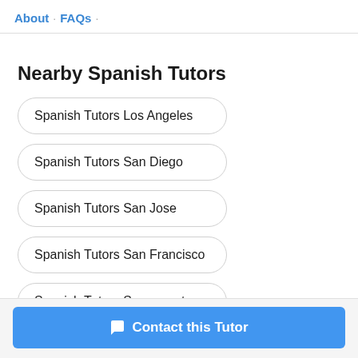About · FAQs ·
Nearby Spanish Tutors
Spanish Tutors Los Angeles
Spanish Tutors San Diego
Spanish Tutors San Jose
Spanish Tutors San Francisco
Spanish Tutors Sacramento
Contact this Tutor